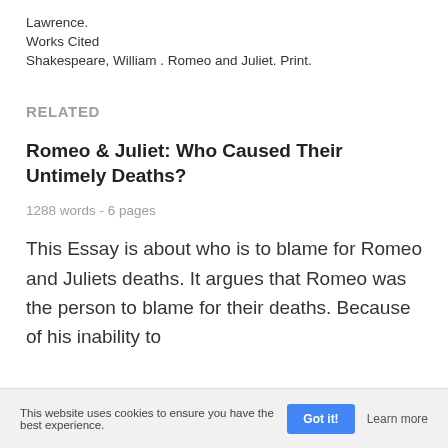Lawrence.
Works Cited
Shakespeare, William . Romeo and Juliet. Print.
RELATED
Romeo & Juliet: Who Caused Their Untimely Deaths?
1288 words - 6 pages
This Essay is about who is to blame for Romeo and Juliets deaths. It argues that Romeo was the person to blame for their deaths. Because of his inability to
This website uses cookies to ensure you have the best experience. Got it! Learn more